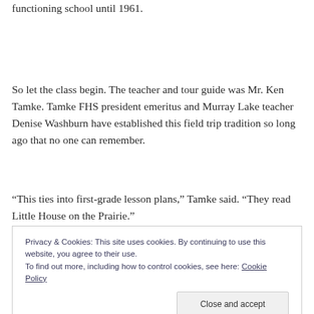functioning school until 1961.
So let the class begin. The teacher and tour guide was Mr. Ken Tamke. Tamke FHS president emeritus and Murray Lake teacher Denise Washburn have established this field trip tradition so long ago that no one can remember.
“This ties into first-grade lesson plans,” Tamke said. “They read Little House on the Prairie.”
Privacy & Cookies: This site uses cookies. By continuing to use this website, you agree to their use.
To find out more, including how to control cookies, see here: Cookie Policy